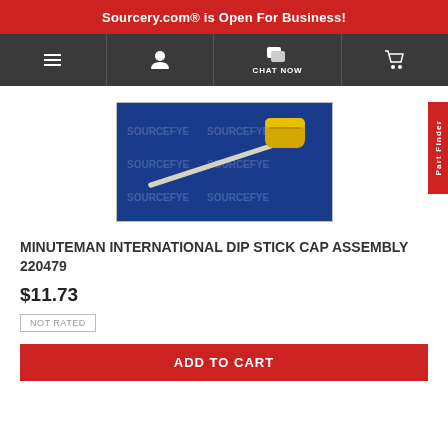Sourcery.com® is Open For Business!
[Figure (screenshot): Navigation bar with hamburger menu, user icon, chat now button, and cart icon on dark gray background]
[Figure (photo): Minuteman International dip stick cap assembly part number 220479 on blue background with Sourcefye watermark]
MINUTEMAN INTERNATIONAL DIP STICK CAP ASSEMBLY 220479
$11.73
NOT RATED
ADD TO CART